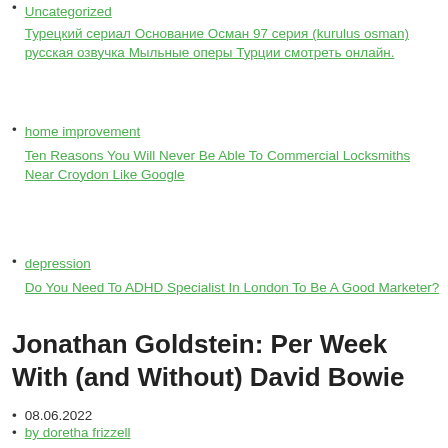Uncategorized
Турецкий сериал Основание Осман 97 серия (kurulus osman) русская озвучка Мыльные оперы Турции смотреть онлайн.
home improvement
Ten Reasons You Will Never Be Able To Commercial Locksmiths Near Croydon Like Google
depression
Do You Need To ADHD Specialist In London To Be A Good Marketer?
Jonathan Goldstein: Per Week With (and Without) David Bowie
08.06.2022
by doretha frizzell